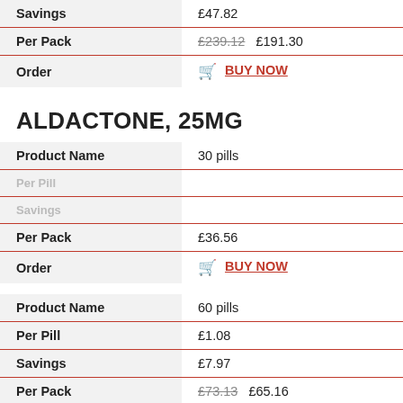| Field | Value |
| --- | --- |
| Savings | £47.82 |
| Per Pack | £239.12  £191.30 |
| Order | BUY NOW |
ALDACTONE, 25MG
| Field | Value |
| --- | --- |
| Product Name | 30 pills |
| Per Pill |  |
| Savings |  |
| Per Pack | £36.56 |
| Order | BUY NOW |
| Field | Value |
| --- | --- |
| Product Name | 60 pills |
| Per Pill | £1.08 |
| Savings | £7.97 |
| Per Pack | £73.13  £65.16 |
| Order | BUY NOW |
| Field | Value |
| --- | --- |
| Product Name | 90 pills |
| Per Pill |  |